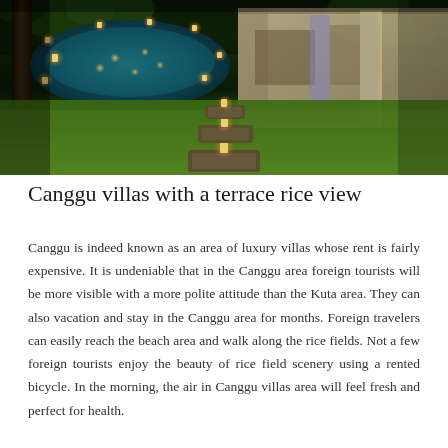[Figure (photo): Nighttime photo of a luxury villa in Canggu showing a swimming pool surrounded by candles, lush green lawn with stepping stones lit by candles leading toward the pool, and a villa building visible on the right side.]
Canggu villas with a terrace rice view
Canggu is indeed known as an area of luxury villas whose rent is fairly expensive. It is undeniable that in the Canggu area foreign tourists will be more visible with a more polite attitude than the Kuta area. They can also vacation and stay in the Canggu area for months. Foreign travelers can easily reach the beach area and walk along the rice fields. Not a few foreign tourists enjoy the beauty of rice field scenery using a rented bicycle. In the morning, the air in Canggu villas area will feel fresh and perfect for health.